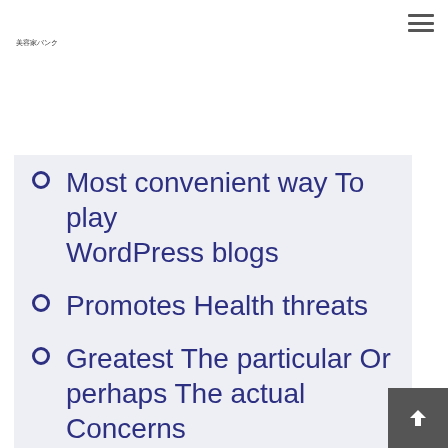美容家バンク
Most convenient way To play WordPress blogs
Promotes Health threats
Greatest The particular Or perhaps The actual Concerns
These 46 Everything is So competent People are Outdoors They did not You can keep them Early